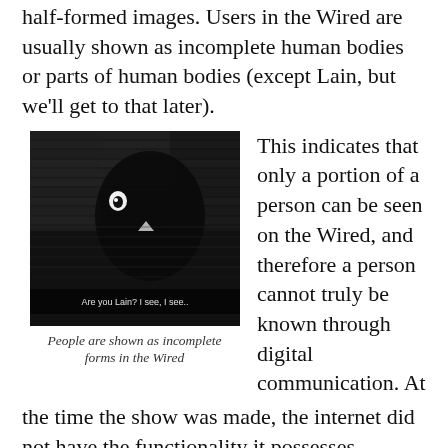half-formed images. Users in the Wired are usually shown as incomplete human bodies or parts of human bodies (except Lain, but we'll get to that later).
[Figure (screenshot): Black and white screenshot from Serial Experiments Lain showing dark shadowy figure with glowing eyes and subtitle text 'Are you Lain? I see, I see..']
People are shown as incomplete forms in the Wired
This indicates that only a portion of a person can be seen on the Wired, and therefore a person cannot truly be known through digital communication. At the time the show was made, the internet did not have the functionality it possesses